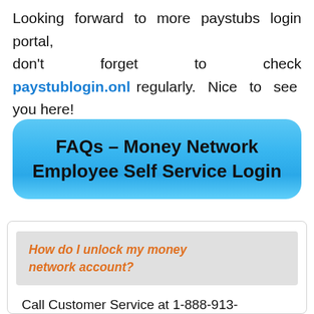Looking forward to more paystubs login portal, don't forget to check paystublogin.onl regularly. Nice to see you here!
FAQs – Money Network Employee Self Service Login
How do I unlock my money network account?
Call Customer Service at 1-888-913-0000 and follow the prompts to...